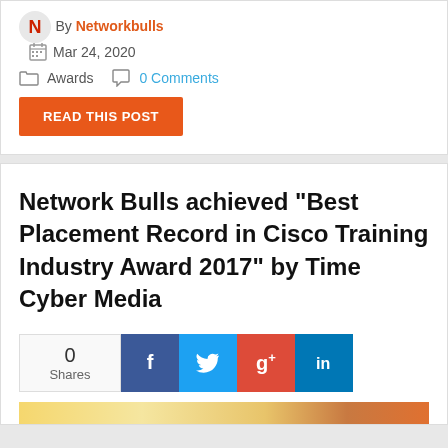By Networkbulls   Mar 24, 2020
Awards   0 Comments
READ THIS POST
Network Bulls achieved "Best Placement Record in Cisco Training Industry Award 2017" by Time Cyber Media
0 Shares
[Figure (screenshot): Social share bar with Facebook, Twitter, Google+, and LinkedIn icons]
[Figure (photo): Hero image strip - warm gold/orange gradient background]